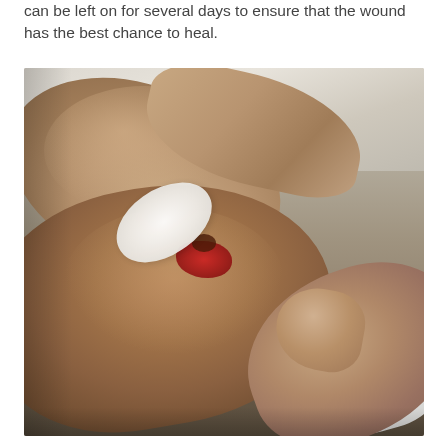can be left on for several days to ensure that the wound has the best chance to heal.
[Figure (photo): Close-up photo of an adult's hands applying a white gauze or cotton pad to a child's scraped and bleeding knee. The knee shows a red wound/abrasion. One hand holds the cotton pad while another hand supports the knee from below.]